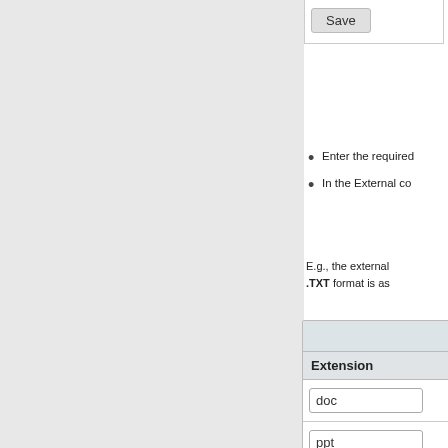[Figure (screenshot): Save button UI element at top of right panel]
Enter the required
In the External co
E.g., the external .TXT format is as
[Figure (screenshot): Table showing Extension column with input fields containing doc, ppt, xls, and a partially visible fourth entry]